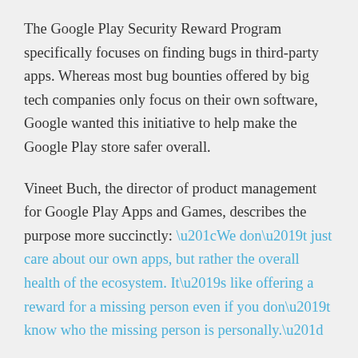The Google Play Security Reward Program specifically focuses on finding bugs in third-party apps. Whereas most bug bounties offered by big tech companies only focus on their own software, Google wanted this initiative to help make the Google Play store safer overall.
Vineet Buch, the director of product management for Google Play Apps and Games, describes the purpose more succinctly: “We don’t just care about our own apps, but rather the overall health of the ecosystem. It’s like offering a reward for a missing person even if you don’t know who the missing person is personally.”